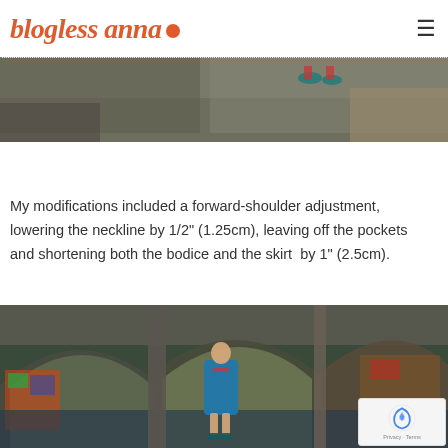blogless anna.
[Figure (photo): Partial photo showing ground-level view under a bridge or overpass, with feet visible wearing teal/red shoes]
My modifications included a forward-shoulder adjustment, lowering the neckline by 1/2" (1.25cm), leaving off the pockets and shortening both the bodice and the skirt  by 1" (2.5cm).
[Figure (photo): Woman in teal/blue dress standing under a large graffiti-covered bridge/overpass with arched supports, smiling at camera. There is a reCAPTCHA badge visible in the bottom right corner.]